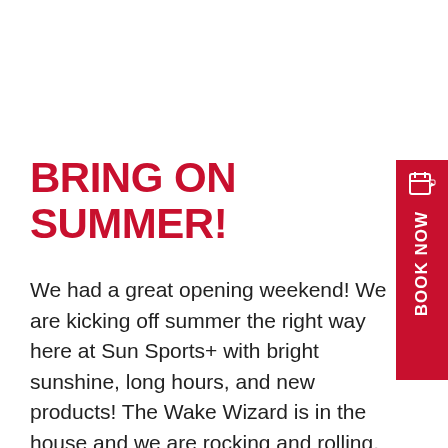BRING ON SUMMER!
We had a great opening weekend! We are kicking off summer the right way here at Sun Sports+ with bright sunshine, long hours, and new products! The Wake Wizard is in the house and we are rocking and rolling. Bring on summer! We are so excited to announce that Sun Sports+ has a new Private... Read more »